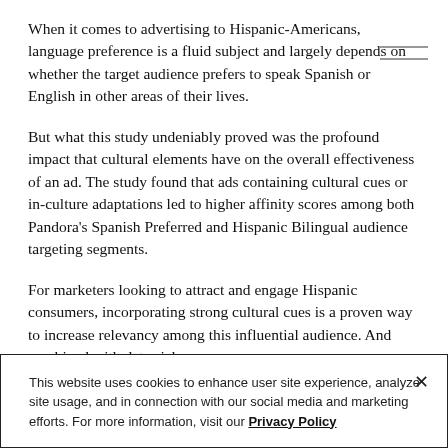When it comes to advertising to Hispanic-Americans, language preference is a fluid subject and largely depends on whether the target audience prefers to speak Spanish or English in other areas of their lives.
But what this study undeniably proved was the profound impact that cultural elements have on the overall effectiveness of an ad. The study found that ads containing cultural cues or in-culture adaptations led to higher affinity scores among both Pandora's Spanish Preferred and Hispanic Bilingual audience targeting segments.
For marketers looking to attract and engage Hispanic consumers, incorporating strong cultural cues is a proven way to increase relevancy among this influential audience. And combined with data-rich
This website uses cookies to enhance user site experience, analyze site usage, and in connection with our social media and marketing efforts. For more information, visit our Privacy Policy